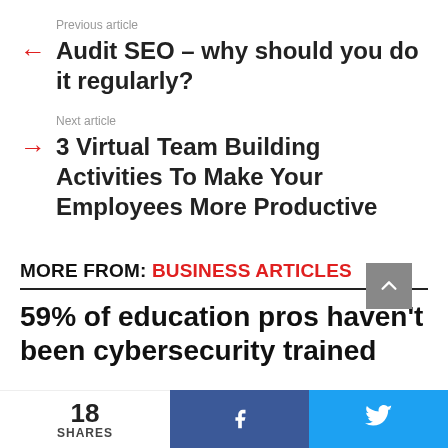Previous article
Audit SEO – why should you do it regularly?
Next article
3 Virtual Team Building Activities To Make Your Employees More Productive
MORE FROM: BUSINESS ARTICLES
59% of education pros haven't been cybersecurity trained
18 SHARES
f
𝕥